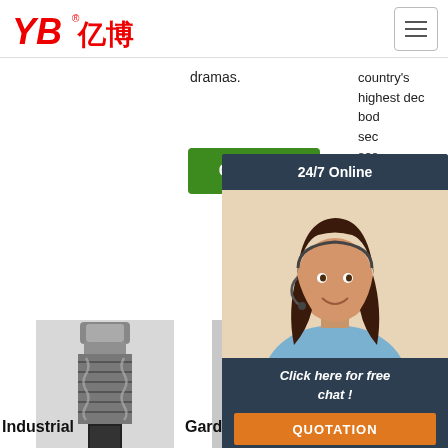[Figure (logo): YB亿博 logo in red with registered trademark symbol]
dramas.
country's highest dec bod sec ses
[Figure (other): Get Price green button]
[Figure (other): 24/7 Online chat overlay with agent photo, Click here for free chat!, and QUOTATION orange button]
[Figure (photo): Industrial hose coupling product photo - metal crimped fitting]
[Figure (photo): Garden hose coupling product photo - metal crimped fitting]
[Figure (photo): Dark pipes photo - Sail Emarate product]
Industrial
Garden .
Sail Emarate.